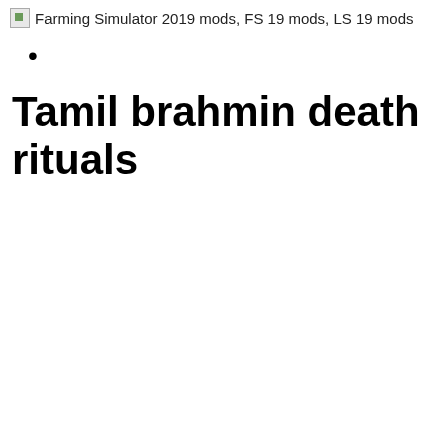Farming Simulator 2019 mods, FS 19 mods, LS 19 mods
•
Tamil brahmin death rituals